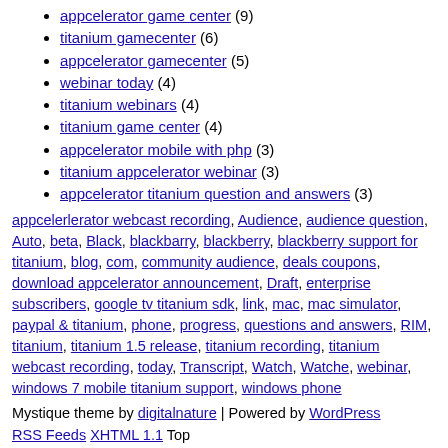appcelerator game center (9)
titanium gamecenter (6)
appcelerator gamecenter (5)
webinar today (4)
titanium webinars (4)
titanium game center (4)
appcelerator mobile with php (3)
titanium appcelerator webinar (3)
appcelerator titanium question and answers (3)
appcelerlerator webcast recording, Audience, audience question, Auto, beta, Black, blackbarry, blackberry, blackberry support for titanium, blog, com, community audience, deals coupons, download appcelerator announcement, Draft, enterprise subscribers, google tv titanium sdk, link, mac, mac simulator, paypal & titanium, phone, progress, questions and answers, RIM, titanium, titanium 1.5 release, titanium recording, titanium webcast recording, today, Transcript, Watch, Watche, webinar, windows 7 mobile titanium support, windows phone
Mystique theme by digitalnature | Powered by WordPress
RSS Feeds XHTML 1.1 Top
[Figure (other): PROTECTED BY COPYSCAPE DO NOT COPY badge]
[Figure (table-as-image): Visitor statistics: US 177117, IN 141079, EU 285155, IT 225986, BR 176027, TH 153117]